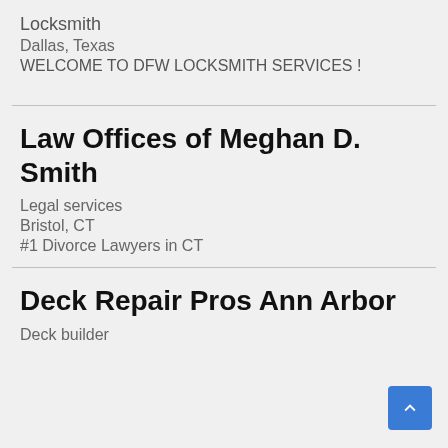Locksmith
Dallas, Texas
WELCOME TO DFW LOCKSMITH SERVICES !
Law Offices of Meghan D. Smith
Legal services
Bristol, CT
#1 Divorce Lawyers in CT
Deck Repair Pros Ann Arbor
Deck builder